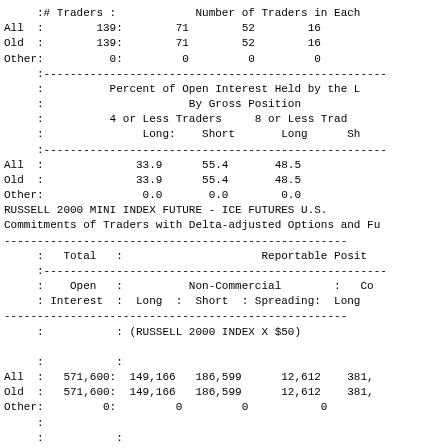|  | :# Traders : |  | Number of Traders in Each |
| --- | --- | --- | --- |
| All : | 139: | 71 | 52 | 16 |
| Old : | 139: | 71 | 52 | 16 |
| Other: | 0: | 0 | 0 | 0 |
|  | Percent of Open Interest Held by the | By Gross Position | 4 or Less Traders | 8 or Less Trad |
| --- | --- | --- | --- | --- |
|  | Long: | Short | Long | Sh |
| All : | 33.9 | 55.4 | 48.5 |  |
| Old : | 33.9 | 55.4 | 48.5 |  |
| Other: | 0.0 | 0.0 | 0.0 |  |
RUSSELL 2000 MINI INDEX FUTURE - ICE FUTURES U.S.
Commitments of Traders with Delta-adjusted Options and Fu
| : Total : | Reportable Posit |
| --- | --- |
| : Open : | Non-Commercial : | Co |
| : Interest : | Long : Short : Spreading: | Long |
|  | (RUSSELL 2000 INDEX X $50) |  |
| All : | 571,600: | 149,166 | 186,599 | 12,612 | 381, |
| Old : | 571,600: | 149,166 | 186,599 | 12,612 | 381, |
| Other: | 0: | 0 | 0 | 0 |
|  | Changes in Commitments from: J |
|  | -1,210: | -8,766 | 10,766 | 1,730 | 8, |